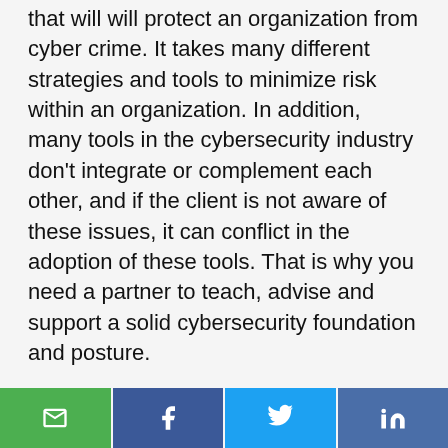that will will protect an organization from cyber crime. It takes many different strategies and tools to minimize risk within an organization. In addition, many tools in the cybersecurity industry don't integrate or complement each other, and if the client is not aware of these issues, it can conflict in the adoption of these tools. That is why you need a partner to teach, advise and support a solid cybersecurity foundation and posture.
WHAT'S THE MOST VALUABLE PIECE OF BUSINESS ADVICE/INSIGHT THAT'S HELPED YOU?
Life is about the journey and not about
Email | Facebook | Twitter | LinkedIn